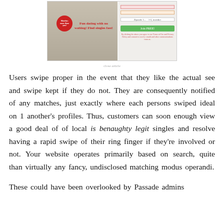[Figure (screenshot): Advertisement screenshot of a dating website showing a couple, a red badge, the tagline 'Fun dating with no waiting! Find singles fast!', a green button, and form fields.]
Users swipe proper in the event that they like the actual see and swipe kept if they do not. They are consequently notified of any matches, just exactly where each persons swiped ideal on 1 another's profiles. Thus, customers can soon enough view a good deal of of local is benaughty legit singles and resolve having a rapid swipe of their ring finger if they're involved or not. Your website operates primarily based on search, quite than virtually any fancy, undisclosed matching modus operandi.
These could have been overlooked by Passade admins